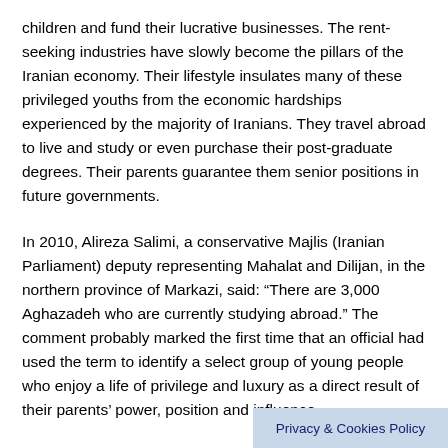in most instances, the wealthy secure plum jobs for their children and fund their lucrative businesses. The rent-seeking industries have slowly become the pillars of the Iranian economy. Their lifestyle insulates many of these privileged youths from the economic hardships experienced by the majority of Iranians. They travel abroad to live and study or even purchase their post-graduate degrees. Their parents guarantee them senior positions in future governments.
In 2010, Alireza Salimi, a conservative Majlis (Iranian Parliament) deputy representing Mahalat and Dilijan, in the northern province of Markazi, said: “There are 3,000 Aghazadeh who are currently studying abroad.” The comment probably marked the first time that an official had used the term to identify a select group of young people who enjoy a life of privilege and luxury as a direct result of their parents’ power, position and influence.
Privacy & Cookies Policy